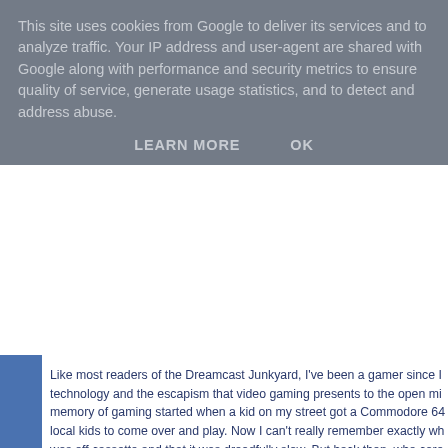This site uses cookies from Google to deliver its services and to analyze traffic. Your IP address and user-agent are shared with Google along with performance and security metrics to ensure quality of service, generate usage statistics, and to detect and address abuse.
LEARN MORE    OK
Like most readers of the Dreamcast Junkyard, I've been a gamer since I... technology and the escapism that video gaming presents to the open mi... memory of gaming started when a kid on my street got a Commodore 64... local kids to come over and play. Now I can't really remember exactly wh... was off cassette and that it was dreadfully slow. But back then, who care... coming was exciting and would absolutely be worth the wait.
Skip forward a few years and my Dad, out of nowhere, came home one d... Apple IIc computer; also a dog. I think the dog was to smooth over my m... Such a wise man. This event is what I consider to be the starting point fo... so far, as a gamer, computer enthusiast, career in IT and also, how to as... permission. That's not to say that I wasn't already into other forms of vide... certainly around at this time as was the Master System. However, nithe... town that I grew up in, unless you had a wealthy or American friend, cou...